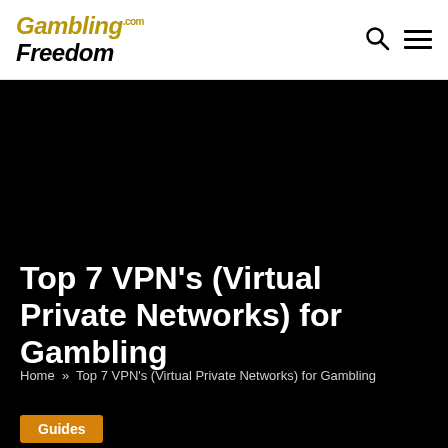GamblingFreedom.com
[Figure (illustration): Dark/black hero background image area]
Top 7 VPN’s (Virtual Private Networks) for Gambling
Home » Top 7 VPN’s (Virtual Private Networks) for Gambling
Guides